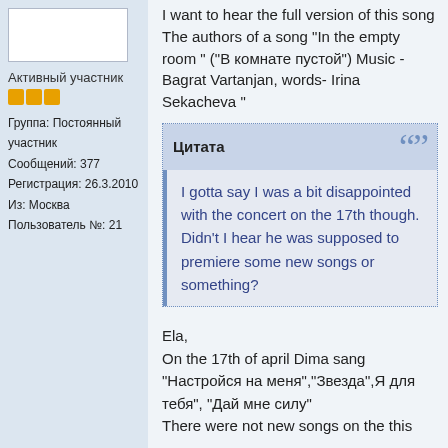[Figure (other): User avatar placeholder box]
Активный участник
★★★
Группа: Постоянный участник
Сообщений: 377
Регистрация: 26.3.2010
Из: Москва
Пользователь №: 21
I want to hear the full version of this song
The authors of a song "In the empty room " ("В комнате пустой") Music - Bagrat Vartanjan, words- Irina Sekacheva "
Цитата
I gotta say I was a bit disappointed with the concert on the 17th though. Didn't I hear he was supposed to premiere some new songs or something?
Ela,
On the 17th of april Dima sang "Настройся на меня","Звезда",Я для тебя", "Дай мне силу"
There were not new songs on the this